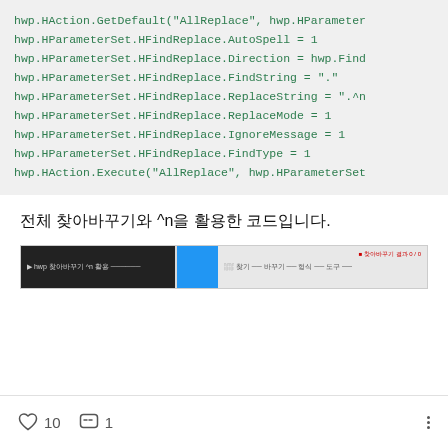hwp.HAction.GetDefault("AllReplace", hwp.HParameterSet.HFindReplace.HSet)
hwp.HParameterSet.HFindReplace.AutoSpell = 1
hwp.HParameterSet.HFindReplace.Direction = hwp.FindDir.AllDoc
hwp.HParameterSet.HFindReplace.FindString = "."
hwp.HParameterSet.HFindReplace.ReplaceString = ".^n"
hwp.HParameterSet.HFindReplace.ReplaceMode = 1
hwp.HParameterSet.HFindReplace.IgnoreMessage = 1
hwp.HParameterSet.HFindReplace.FindType = 1
hwp.HAction.Execute("AllReplace", hwp.HParameterSet.HFindReplace.HSet)
전체 찾아바꾸기와 ^n을 활용한 코드입니다.
[Figure (screenshot): A screenshot showing a software interface with a dark title bar on the left and a blue element in the middle, with toolbar/menu elements on the right.]
♡ 10  💬 1